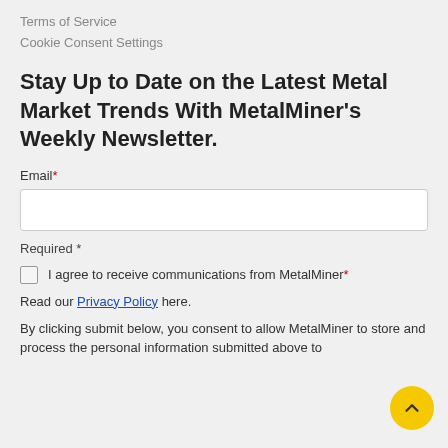Terms of Service
Cookie Consent Settings
Stay Up to Date on the Latest Metal Market Trends With MetalMiner's Weekly Newsletter.
Email*
Required *
I agree to receive communications from MetalMiner*
Read our Privacy Policy here.
By clicking submit below, you consent to allow MetalMiner to store and process the personal information submitted above to provide you the content requested.